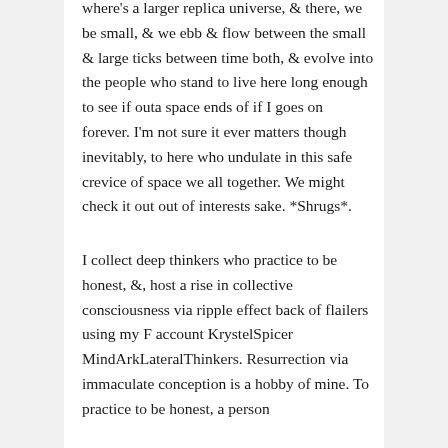where's a larger replica universe, & there, we be small, & we ebb & flow between the small & large ticks between time both, & evolve into the people who stand to live here long enough to see if outa space ends of if I goes on forever. I'm not sure it ever matters though inevitably, to here who undulate in this safe crevice of space we all together. We might check it out out of interests sake. *Shrugs*.
I collect deep thinkers who practice to be honest, &, host a rise in collective consciousness via ripple effect back of flailers using my F account KrystelSpicer MindArkLateralThinkers. Resurrection via immaculate conception is a hobby of mine. To practice to be honest, a person